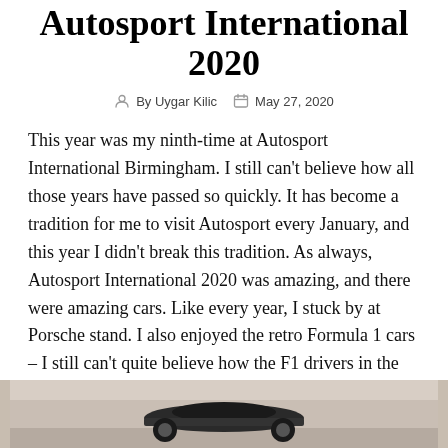Autosport International 2020
By Uygar Kilic   May 27, 2020
This year was my ninth-time at Autosport International Birmingham. I still can't believe how all those years have passed so quickly. It has become a tradition for me to visit Autosport every January, and this year I didn't break this tradition. As always, Autosport International 2020 was amazing, and there were amazing cars. Like every year, I stuck by at Porsche stand. I also enjoyed the retro Formula 1 cars – I still can't quite believe how the F1 drivers in the 1980s and early 1990s were able to drive these cars.
[Figure (photo): Partial photo at bottom of page showing a car at Autosport International 2020]